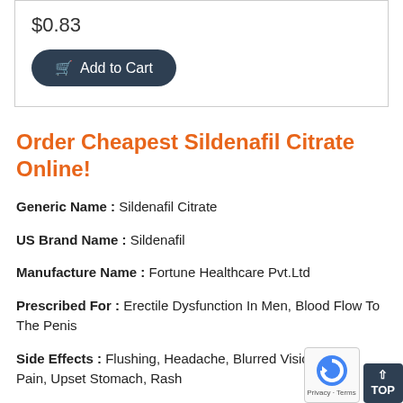$0.83
[Figure (other): Dark navy rounded-rectangle Add to Cart button with shopping cart icon]
Order Cheapest Sildenafil Citrate Online!
Generic Name : Sildenafil Citrate
US Brand Name : Sildenafil
Manufacture Name : Fortune Healthcare Pvt.Ltd
Prescribed For : Erectile Dysfunction In Men, Blood Flow To The Penis
Side Effects : Flushing, Headache, Blurred Vision, Muscle Pain, Upset Stomach, Rash